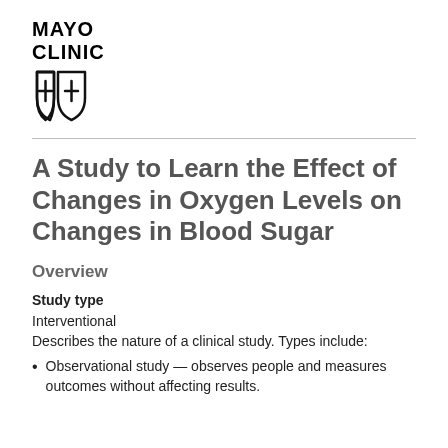[Figure (logo): Mayo Clinic logo with shield emblem and text MAYO CLINIC]
A Study to Learn the Effect of Changes in Oxygen Levels on Changes in Blood Sugar
Overview
Study type
Interventional
Describes the nature of a clinical study. Types include:
Observational study — observes people and measures outcomes without affecting results.